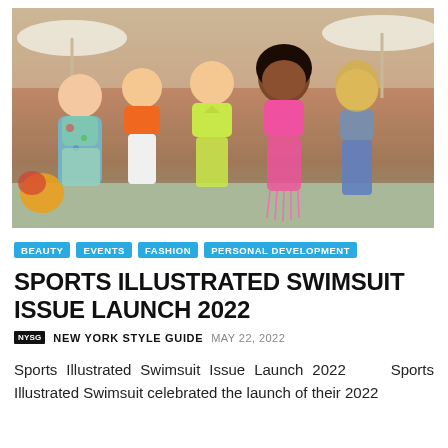[Figure (photo): Group photo of five women in colorful summer/swimsuit outfits posing outdoors at what appears to be a tropical resort setting. From left: woman in tropical print outfit, woman in orange crop top, woman in yellow-green halter dress, woman in pink bikini/cover-up, woman in denim. Background shows umbrellas and tropical vegetation.]
BEAUTY
EVENTS
FASHION
PERSONAL DEVELOPMENT
SPORTS ILLUSTRATED SWIMSUIT ISSUE LAUNCH 2022
NYSG  NEW YORK STYLE GUIDE  MAY 22, 2022
Sports Illustrated Swimsuit Issue Launch 2022    Sports Illustrated Swimsuit celebrated the launch of their 2022